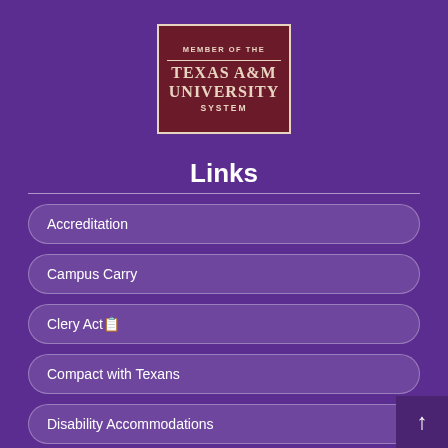[Figure (logo): Member of the Texas A&M University System logo — dark maroon rectangle with cream border displaying the text 'MEMBER OF THE TEXAS A&M UNIVERSITY SYSTEM']
Links
Accreditation
Campus Carry
Clery Act
Compact with Texans
Disability Accommodations
Equal Opportunity